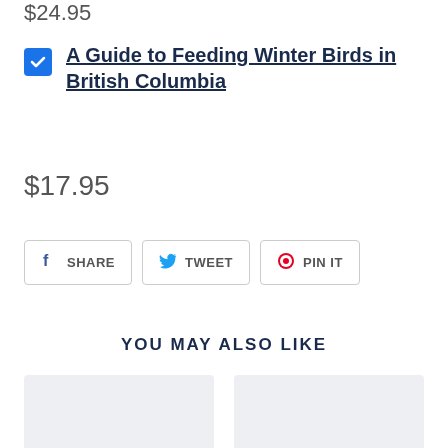$24.95
A Guide to Feeding Winter Birds in British Columbia
$17.95
SHARE  TWEET  PIN IT
YOU MAY ALSO LIKE
[Figure (other): Two placeholder image cards side by side]